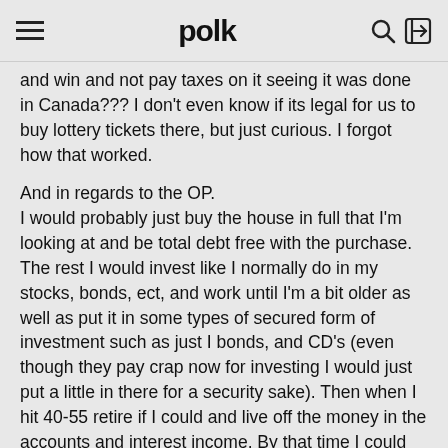polk
and win and not pay taxes on it seeing it was done in Canada??? I don't even know if its legal for us to buy lottery tickets there, but just curious. I forgot how that worked.
And in regards to the OP. I would probably just buy the house in full that I'm looking at and be total debt free with the purchase. The rest I would invest like I normally do in my stocks, bonds, ect, and work until I'm a bit older as well as put it in some types of secured form of investment such as just I bonds, and CD's (even though they pay crap now for investing I would just put a little in there for a security sake). Then when I hit 40-55 retire if I could and live off the money in the accounts and interest income. By that time I could just set up some accounts and live off the interest off the amount of Million+ interest (hopefully if I didn't lose any of